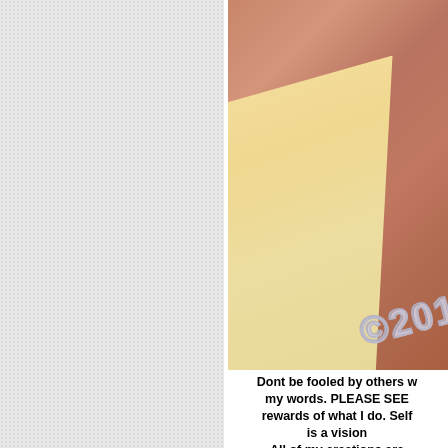[Figure (photo): A close-up photo of a hand holding or peeling back what appears to be a page or book cover, with a copyright watermark '©201...' visible on the surface. The image is cropped on the right side, showing skin tones and a cream/tan colored paper or cover.]
Dont be fooled by others w... my words. PLEASE SEE... rewards of what I do. Self... is a vision... All of my creations are...